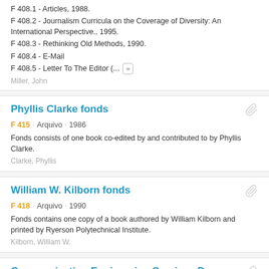F 408.1 - Articles, 1988.
F 408.2 - Journalism Curricula on the Coverage of Diversity: An International Perspective., 1995.
F 408.3 - Rethinking Old Methods, 1990.
F 408.4 - E-Mail
F 408.5 - Letter To The Editor (...) »
Miller, John
Phyllis Clarke fonds
F 415 · Arquivo · 1986
Fonds consists of one book co-edited by and contributed to by Phyllis Clarke.
Clarke, Phyllis
William W. Kilborn fonds
F 418 · Arquivo · 1990
Fonds contains one copy of a book authored by William Kilborn and printed by Ryerson Polytechnical Institute.
Kilborn, William W.
Communication Engineering Services Depar...
RG 500 · Arquivo · 1970 - 1986